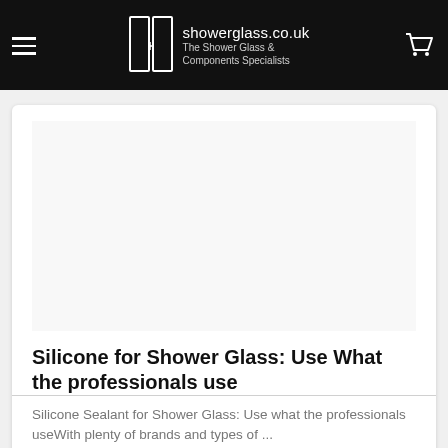showerglass.co.uk – The Shower Glass & Components Specialists
[Figure (screenshot): White blank image area inside card]
Silicone for Shower Glass: Use What the professionals use
Silicone Sealant for Shower Glass: Use what the professionals useWith plenty of brands and types of ...
Read More